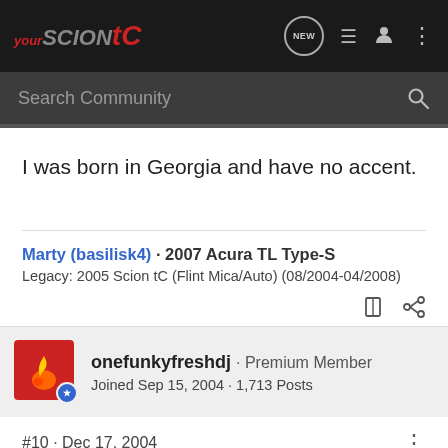yourSCIONtC — site header with navigation icons (NEW, list, user, menu)
Search Community
I was born in Georgia and have no accent.
Marty (basilisk4) · 2007 Acura TL Type-S
Legacy: 2005 Scion tC (Flint Mica/Auto) (08/2004-04/2008)
onefunkyfreshdj · Premium Member
Joined Sep 15, 2004 · 1,713 Posts
#10 · Dec 17, 2004